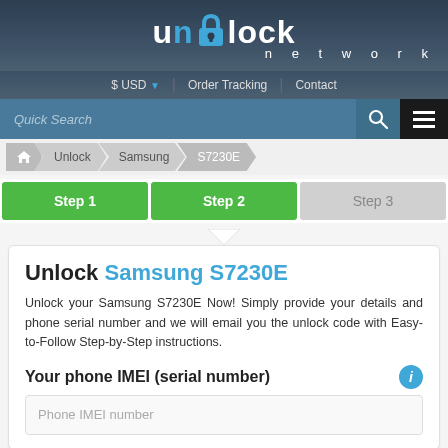[Figure (logo): Unlock Network logo with padlock icon in blue on dark slate background]
$ USD  Order Tracking  Contact
Quick Search
Home > Unlock > Samsung > S7230E
Step 1  Step 2  Step 3
Unlock Samsung S7230E
Unlock your Samsung S7230E Now! Simply provide your details and phone serial number and we will email you the unlock code with Easy-to-Follow Step-by-Step instructions.
Your phone IMEI (serial number)
Phone IMEI number